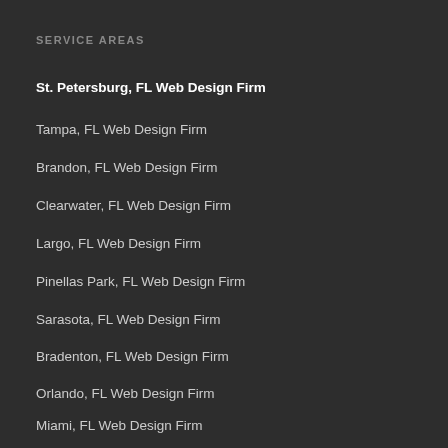SERVICE AREAS
St. Petersburg, FL Web Design Firm
Tampa, FL Web Design Firm
Brandon, FL Web Design Firm
Clearwater, FL Web Design Firm
Largo, FL Web Design Firm
Pinellas Park, FL Web Design Firm
Sarasota, FL Web Design Firm
Bradenton, FL Web Design Firm
Orlando, FL Web Design Firm
Miami, FL Web Design Firm
WEB DESIGN SERVICES